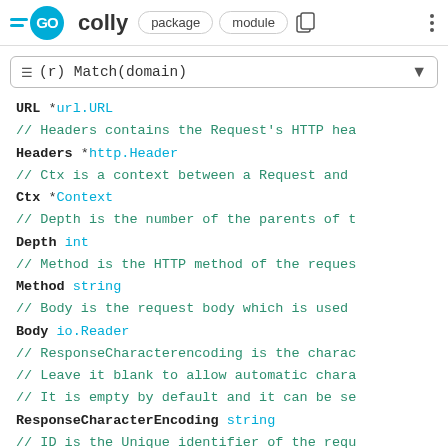GO colly  package  module
≡ (r) Match(domain)
URL *url.URL
// Headers contains the Request's HTTP hea
Headers *http.Header
// Ctx is a context between a Request and
Ctx *Context
// Depth is the number of the parents of t
Depth int
// Method is the HTTP method of the reques
Method string
// Body is the request body which is used
Body io.Reader
// ResponseCharacterencoding is the charac
// Leave it blank to allow automatic chara
// It is empty by default and it can be se
ResponseCharacterEncoding string
// ID is the Unique identifier of the requ
ID uint32